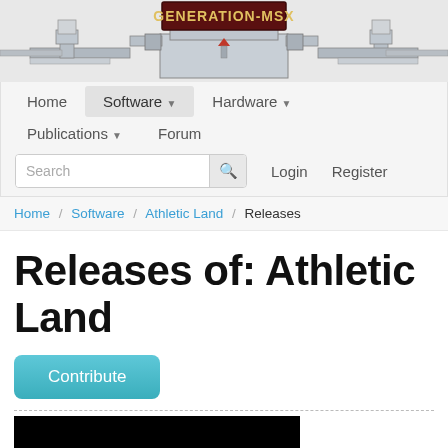[Figure (screenshot): Generation-MSX website header with logo banner showing stylized robot/mech artwork and text 'GENERATION-MSX']
Home  Software ▼  Hardware ▼  Publications ▼  Forum  Search  Login  Register
Home / Software / Athletic Land / Releases
Releases of: Athletic Land
Contribute
[Figure (screenshot): Black rectangle representing a game screenshot or image placeholder]